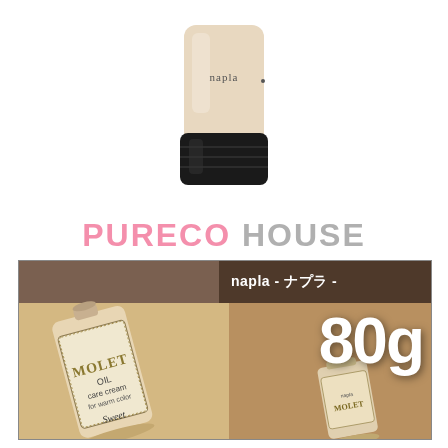[Figure (photo): Napla cosmetic product bottle — cream/beige colored cylindrical bottle with black cap, white background. The word 'napla' written on the bottle.]
[Figure (logo): PURECO HOUSE logo — 'PURECO' in pink and 'HOUSE' in gray, bold capital letters]
[Figure (photo): Product banner image showing napla MOLET OIL care cream for warm color - Sweet, 80g tube in warm beige/brown background. Left shows close-up of cream tube with ornate label reading 'MOLET OIL care cream for warm color Sweet'. Right shows '80g' in large white text and a smaller product tube photo. Top right dark strip reads 'napla - ナプラ -'.]